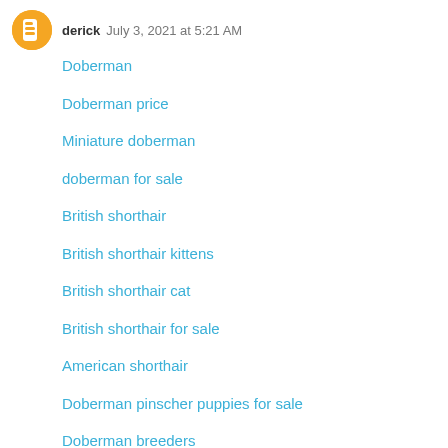derick  July 3, 2021 at 5:21 AM
Doberman
Doberman price
Miniature doberman
doberman for sale
British shorthair
British shorthair kittens
British shorthair cat
British shorthair for sale
American shorthair
Doberman pinscher puppies for sale
Doberman breeders